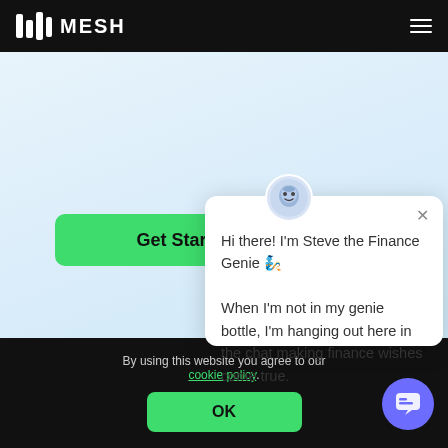MESH
[Figure (screenshot): MESH website screenshot with light blue gradient background and a green 'Get Started' button]
Hi there! I'm Steve the Finance Genie 🧞 When I'm not in my genie bottle, I'm hanging out here in the chat making finance wishes come true.
By using this website you agree to our cookie policy.
OK